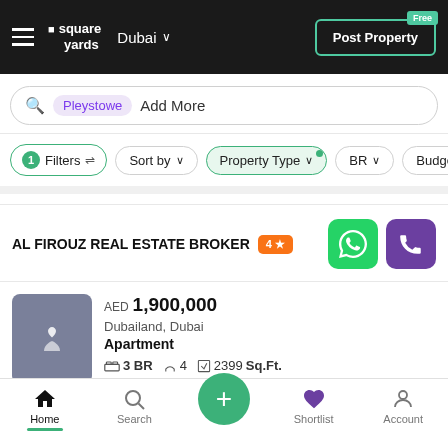square yards | Dubai | Post Property Free
Pleystowe  Add More
1 Filters | Sort by | Property Type | BR | Budget
AL FIROUZ REAL ESTATE BROKER  4★
AED 1,900,000
Dubailand, Dubai
Apartment
3 BR  4  2399Sq.Ft.
NEAR CITY CENTER  WIDE ROAD  SAFE & SECUR
Home  Search  +  Shortlist  Account